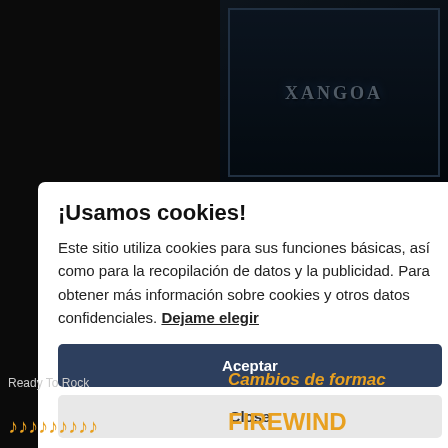[Figure (screenshot): Dark website background with a stormy fantasy/metal themed image visible in the top right corner, showing text 'XANGOA' or similar in stylized metal font against a dark stormy sky with castle/spire imagery.]
¡Usamos cookies!
Este sitio utiliza cookies para sus funciones básicas, así como para la recopilación de datos y la publicidad. Para obtener más información sobre cookies y otros datos confidenciales. Dejame elegir
Aceptar
Close
Ready To Rock
♪♪♪♪♪♪♪♪♪
Cambios de formac
FIREWIND